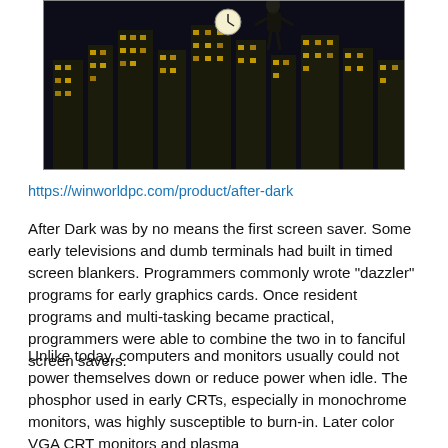[Figure (photo): A dark cityscape at night with illuminated building windows forming a city skyline, a clock visible, and a figure in the scene. This appears to be the After Dark screen saver product image.]
https://winworldpc.com/product/after-dark
After Dark was by no means the first screen saver. Some early televisions and dumb terminals had built in timed screen blankers. Programmers commonly wrote "dazzler" programs for early graphics cards. Once resident programs and multi-tasking became practical, programmers were able to combine the two in to fanciful screen savers.
Unlike today, computers and monitors usually could not power themselves down or reduce power when idle. The phosphor used in early CRTs, especially in monochrome monitors, was highly susceptible to burn-in. Later color VGA CRT monitors and plasma displays...